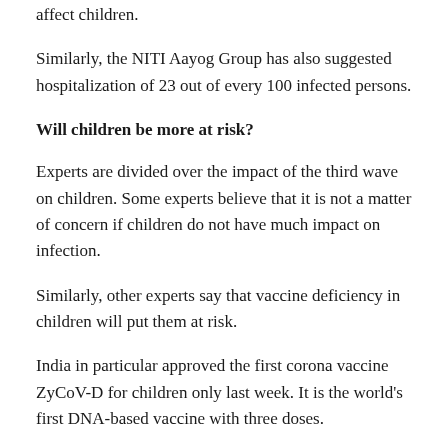affect children.
Similarly, the NITI Aayog Group has also suggested hospitalization of 23 out of every 100 infected persons.
Will children be more at risk?
Experts are divided over the impact of the third wave on children. Some experts believe that it is not a matter of concern if children do not have much impact on infection.
Similarly, other experts say that vaccine deficiency in children will put them at risk.
India in particular approved the first corona vaccine ZyCoV-D for children only last week. It is the world's first DNA-based vaccine with three doses.